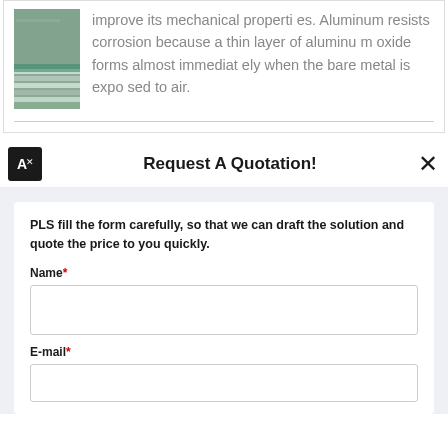[Figure (photo): Photo of stacked aluminum sheets or panels]
improve its mechanical properties. Aluminum resists corrosion because a thin layer of aluminum oxide forms almost immediately when the bare metal is exposed to air.
Request A Quotation!
PLS fill the form carefully, so that we can draft the solution and quote the price to you quickly.
Name*
E-mail*